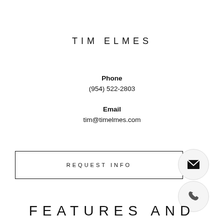TIM ELMES
Phone
(954) 522-2803
Email
tim@timelmes.com
REQUEST INFO
FEATURES AND